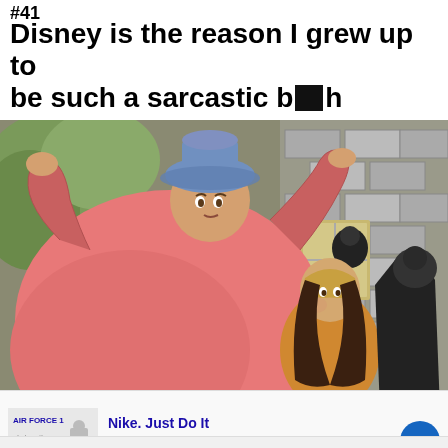#41
Disney is the reason I grew up to be such a sarcastic b****h
[Figure (illustration): Animated Disney cartoon scene showing a fairy godmother-like character in pink robes and blue hat gesturing, with another character in yellow/gold clothing looking up at her, and a third dark-cloaked figure in the background. Stone wall and foliage visible.]
Nike. Just Do It
Inspiring the world's athletes, Nike delivers the deals
www.nike.com